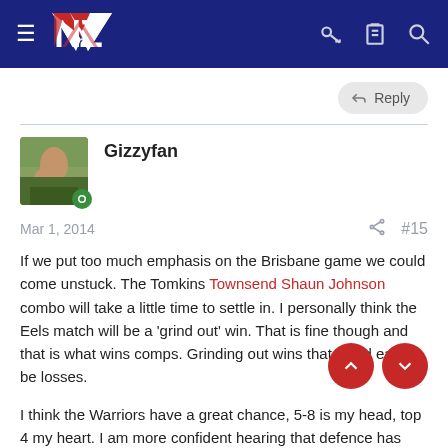[Figure (logo): NZ Warriors forum website header with hamburger menu, NZ logo in blue/red/white, and icons for key, clipboard, and search on dark navy background]
Reply
Gizzyfan
Mar 1, 2014
#15
If we put too much emphasis on the Brisbane game we could come unstuck. The Tomkins Townsend Shaun Johnson combo will take a little time to settle in. I personally think the Eels match will be a 'grind out' win. That is fine though and that is what wins comps. Grinding out wins that could easily be losses.
I think the Warriors have a great chance, 5-8 is my head, top 4 my heart. I am more confident hearing that defence has been the pre season priority